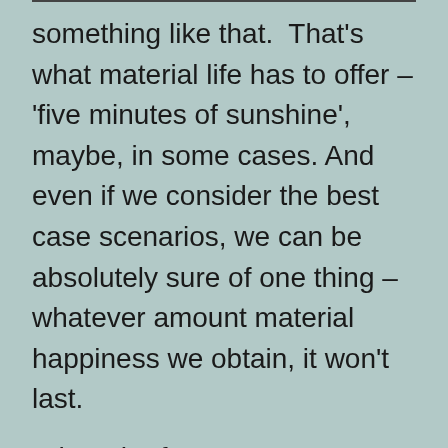something like that. That's what material life has to offer – 'five minutes of sunshine', maybe, in some cases. And even if we consider the best case scenarios, we can be absolutely sure of one thing – whatever amount material happiness we obtain, it won't last.
When the famous actress Katherine Hepburn (in her old age) was asked about old age, she poignantly mentioned that the romantic view of how old age can be 'a pleasant thing' was actually a great nonsense.